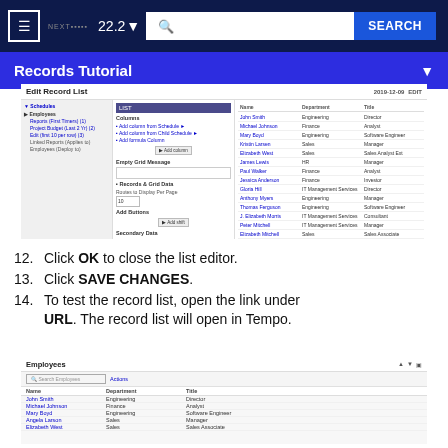22.2   SEARCH
Records Tutorial
[Figure (screenshot): Screenshot of the Edit Record List dialog with columns and settings panel, showing employee data table on the right side.]
12. Click OK to close the list editor.
13. Click SAVE CHANGES.
14. To test the record list, open the link under URL. The record list will open in Tempo.
[Figure (screenshot): Screenshot of Employees record list in Tempo showing Name, Department, Title columns with employee data rows.]